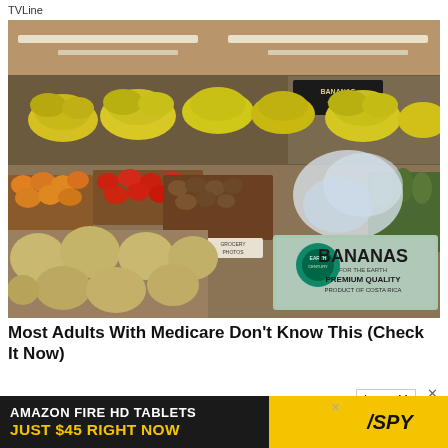TVLine
[Figure (photo): Interior of a grocery store produce section showing bunches of bananas hanging from overhead displays, with various fruits including melons, tomatoes, and other produce in wooden bins. A cardboard box labeled 'Earth Bananas Premium Quality Product of Costa Rica' is visible in the foreground.]
Most Adults With Medicare Don't Know This (Check It Now)
Qualify Medicare
Learn M
[Figure (screenshot): Advertisement banner: 'AMAZON FIRE HD TABLETS JUST $45 RIGHT NOW' with SPY logo on yellow background]